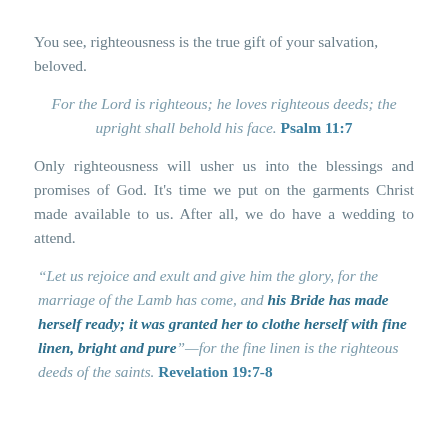You see, righteousness is the true gift of your salvation, beloved.
For the Lord is righteous; he loves righteous deeds; the upright shall behold his face. Psalm 11:7
Only righteousness will usher us into the blessings and promises of God. It's time we put on the garments Christ made available to us. After all, we do have a wedding to attend.
“Let us rejoice and exult and give him the glory, for the marriage of the Lamb has come, and his Bride has made herself ready; it was granted her to clothe herself with fine linen, bright and pure”—for the fine linen is the righteous deeds of the saints. Revelation 19:7-8